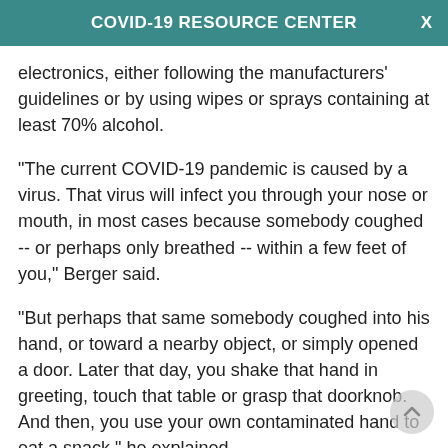COVID-19 RESOURCE CENTER
electronics, either following the manufacturers' guidelines or by using wipes or sprays containing at least 70% alcohol.
"The current COVID-19 pandemic is caused by a virus. That virus will infect you through your nose or mouth, in most cases because somebody coughed -- or perhaps only breathed -- within a few feet of you," Berger said.
"But perhaps that same somebody coughed into his hand, or toward a nearby object, or simply opened a door. Later that day, you shake that hand in greeting, touch that table or grasp that doorknob. And then, you use your own contaminated hand to eat a snack," he explained.